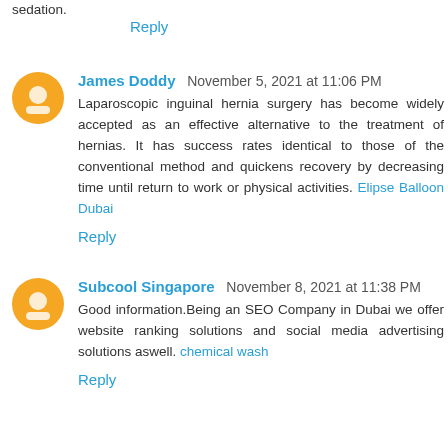sedation.
Reply
James Doddy  November 5, 2021 at 11:06 PM
Laparoscopic inguinal hernia surgery has become widely accepted as an effective alternative to the treatment of hernias. It has success rates identical to those of the conventional method and quickens recovery by decreasing time until return to work or physical activities. Elipse Balloon Dubai
Reply
Subcool Singapore  November 8, 2021 at 11:38 PM
Good information.Being an SEO Company in Dubai we offer website ranking solutions and social media advertising solutions aswell. chemical wash
Reply